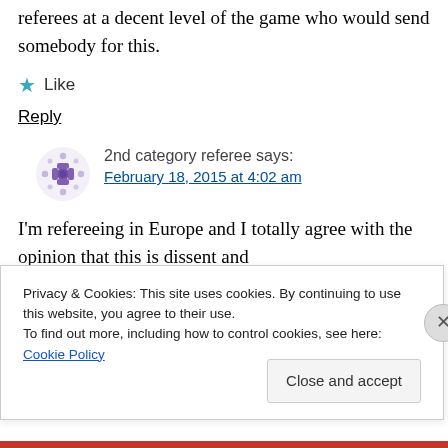referees at a decent level of the game who would send somebody for this.
Like
Reply
2nd category referee says: February 18, 2015 at 4:02 am
I'm refereeing in Europe and I totally agree with the opinion that this is dissent and disrespectful behavior. As mentioned here
Privacy & Cookies: This site uses cookies. By continuing to use this website, you agree to their use.
To find out more, including how to control cookies, see here: Cookie Policy